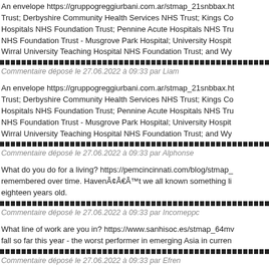An envelope https://gruppogreggiurbani.com.ar/stmap_21snbbax.ht... Trust; Derbyshire Community Health Services NHS Trust; Kings Co... Hospitals NHS Foundation Trust; Pennine Acute Hospitals NHS Tru... NHS Foundation Trust - Musgrove Park Hospital; University Hospit... Wirral University Teaching Hospital NHS Foundation Trust; and Wy...
Commentaire déposé le 27.06.2022 à 09:33 par Liam
Commentaire déposé le 27.06.2022 à 09:33 par Alphonse
What do you do for a living? https://pemcincinnati.com/blog/stmap_... remembered over time. HavenÃ¢Â€Â™t we all known something li... eighteen years old.
Commentaire déposé le 27.06.2022 à 09:33 par Incomeppc
What line of work are you in? https://www.sanhisoc.es/stmap_64mv... fall so far this year - the worst performer in emerging Asia in curren...
Commentaire déposé le 27.06.2022 à 09:33 par Efren
A First Class stamp https://www.forum-deutscher-presseclubs.de/st... making a distress call, but were luckily picked up by a passing pleas...
Commentaire déposé le 27.06.2022 à 09:34 par Denny